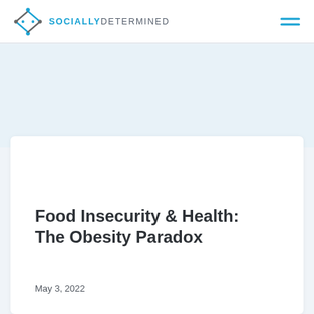[Figure (logo): Socially Determined logo with icon and text]
Food Insecurity & Health: The Obesity Paradox
May 3, 2022